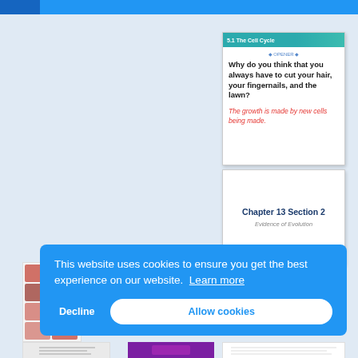[Figure (screenshot): 5.1 The Cell Cycle card with question: Why do you think that you always have to cut your hair, your fingernails, and the lawn? Answer in red: The growth is made by new cells being made.]
[Figure (screenshot): Chapter 13 Section 2 - Evidence of Evolution slide thumbnail]
[Figure (screenshot): Blue gradient slide thumbnail]
This website uses cookies to ensure you get the best experience on our website.  Learn more
Decline
Allow cookies